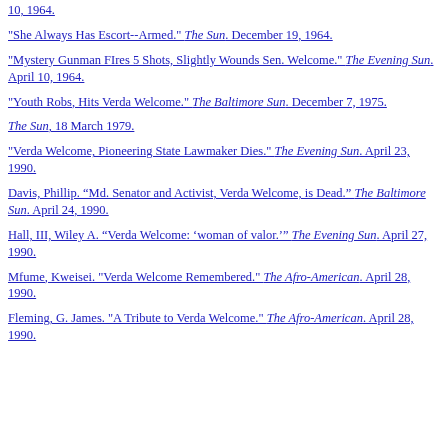10, 1964.
"She Always Has Escort--Armed." The Sun. December 19, 1964.
"Mystery Gunman FIres 5 Shots, Slightly Wounds Sen. Welcome." The Evening Sun. April 10, 1964.
"Youth Robs, Hits Verda Welcome." The Baltimore Sun. December 7, 1975.
The Sun, 18 March 1979.
"Verda Welcome, Pioneering State Lawmaker Dies." The Evening Sun. April 23, 1990.
Davis, Phillip. “Md. Senator and Activist, Verda Welcome, is Dead.” The Baltimore Sun. April 24, 1990.
Hall, III, Wiley A. “Verda Welcome: ‘woman of valor.’” The Evening Sun. April 27, 1990.
Mfume, Kweisei. "Verda Welcome Remembered." The Afro-American. April 28, 1990.
Fleming, G. James. "A Tribute to Verda Welcome." The Afro-American. April 28, 1990.